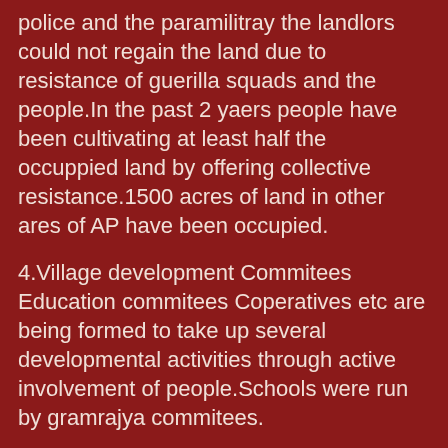police and the paramilitray the landlors could not regain the land due to resistance of guerilla squads and the people.In the past 2 yaers people have been cultivating at least half the occuppied land by offering collective resistance.1500 acres of land in other ares of AP have been occupied.
4.Village development Commitees Education commitees Coperatives etc are being formed to take up several developmental activities through active involvement of people.Schools were run by gramrajya commitees.
5.Village courts which served to defend the political hegemony of the landlords were converted into peoples courts .A classic example was in Jagatiyal.
6.We combated the police and para -military forces inspite of ban imposed in May 1992 and losing about 1300 members.We defeated the enemy offensive ,developed armed resistance and increased the